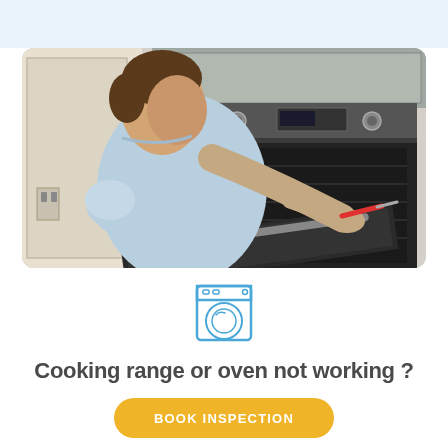[Figure (photo): Man in light blue polo shirt repairing/inspecting a stainless steel oven with open door, using a screwdriver, kitchen background]
[Figure (illustration): Simple line icon of a washing machine / home appliance in blue outline style]
Cooking range or oven not working ?
BOOK INSPECTION